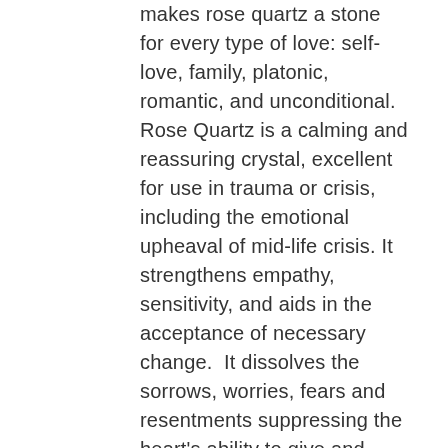makes rose quartz a stone for every type of love: self-love, family, platonic, romantic, and unconditional. Rose Quartz is a calming and reassuring crystal, excellent for use in trauma or crisis, including the emotional upheaval of mid-life crisis. It strengthens empathy, sensitivity, and aids in the acceptance of necessary change.  It dissolves the sorrows, worries, fears and resentments suppressing the heart's ability to give and receive love, and replaces it with healing, comfort and inner nourishment. A deep sense of personal fulfillment and energy forms a new foundation where inner peace and contentment can become a personal reality. It is also an excellent stone for comforting grief.